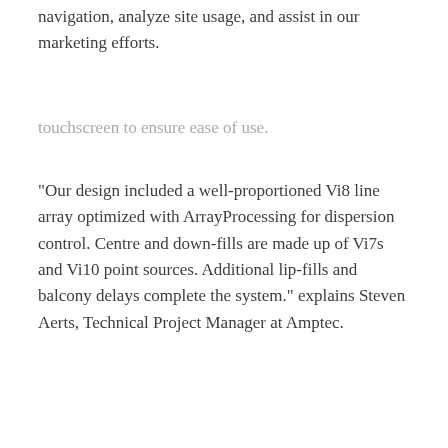navigation, analyze site usage, and assist in our marketing efforts.
touchscreen to ensure ease of use.
“Our design included a well-proportioned Vi8 line array optimized with ArrayProcessing for dispersion control. Centre and down-fills are made up of Vi7s and Vi10 point sources. Additional lip-fills and balcony delays complete the system.” explains Steven Aerts, Technical Project Manager at Amptec.